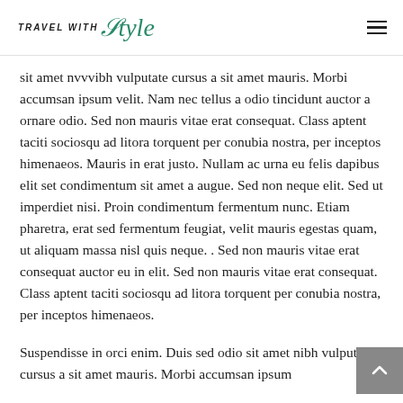TRAVEL WITH Style
sit amet nvvvibh vulputate cursus a sit amet mauris. Morbi accumsan ipsum velit. Nam nec tellus a odio tincidunt auctor a ornare odio. Sed non mauris vitae erat consequat. Class aptent taciti sociosqu ad litora torquent per conubia nostra, per inceptos himenaeos. Mauris in erat justo. Nullam ac urna eu felis dapibus elit set condimentum sit amet a augue. Sed non neque elit. Sed ut imperdiet nisi. Proin condimentum fermentum nunc. Etiam pharetra, erat sed fermentum feugiat, velit mauris egestas quam, ut aliquam massa nisl quis neque. . Sed non mauris vitae erat consequat auctor eu in elit. Sed non mauris vitae erat consequat. Class aptent taciti sociosqu ad litora torquent per conubia nostra, per inceptos himenaeos.
Suspendisse in orci enim. Duis sed odio sit amet nibh vulputate cursus a sit amet mauris. Morbi accumsan ipsum